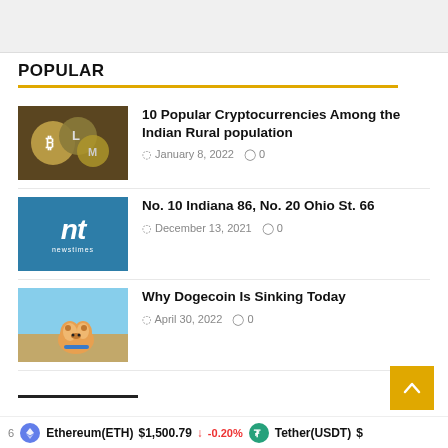POPULAR
10 Popular Cryptocurrencies Among the Indian Rural population — January 8, 2022 — 0 comments
No. 10 Indiana 86, No. 20 Ohio St. 66 — December 13, 2021 — 0 comments
Why Dogecoin Is Sinking Today — April 30, 2022 — 0 comments
Ethereum(ETH) $1,500.79 -0.20% Tether(USDT) $